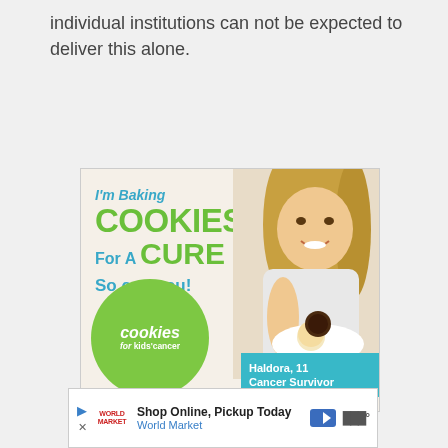individual institutions can not be expected to deliver this alone.
[Figure (illustration): Advertisement for 'Cookies for Kids' Cancer' charity. Features a smiling blonde girl (Haldora, 11, Cancer Survivor) holding a plate of cookies. Text reads: I'm Baking COOKIES For A CURE So can you! with the cookies for kids' cancer logo in a green circle.]
[Figure (illustration): Bottom advertisement banner: Shop Online, Pickup Today - World Market, with navigation arrow icon and wave icon.]